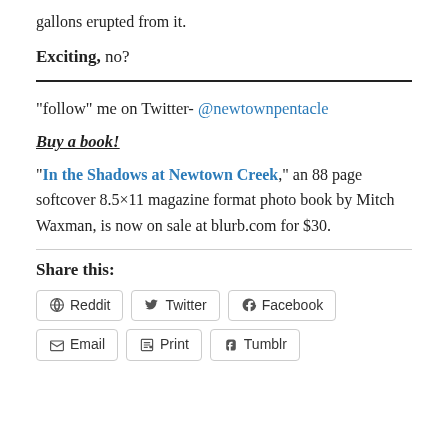gallons erupted from it.
Exciting, no?
"follow" me on Twitter- @newtownpentacle
Buy a book!
"In the Shadows at Newtown Creek," an 88 page softcover 8.5×11 magazine format photo book by Mitch Waxman, is now on sale at blurb.com for $30.
Share this:
Reddit Twitter Facebook Email Print Tumblr